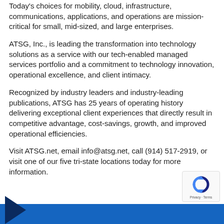Today's choices for mobility, cloud, infrastructure, communications, applications, and operations are mission-critical for small, mid-sized, and large enterprises.
ATSG, Inc., is leading the transformation into technology solutions as a service with our tech-enabled managed services portfolio and a commitment to technology innovation, operational excellence, and client intimacy.
Recognized by industry leaders and industry-leading publications, ATSG has 25 years of operating history delivering exceptional client experiences that directly result in competitive advantage, cost-savings, growth, and improved operational efficiencies.
Visit ATSG.net, email info@atsg.net, call (914) 517-2919, or visit one of our five tri-state locations today for more information.
[Figure (logo): reCAPTCHA badge with circular arrow logo and Privacy - Terms text]
Blue footer bar with dark blue arrow/chevron on left